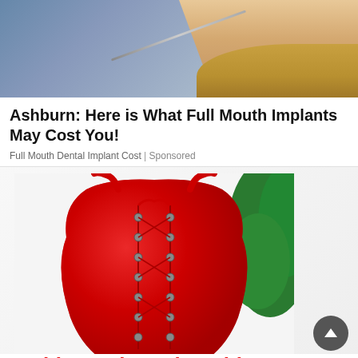[Figure (photo): Photo of a person receiving a dental or cosmetic injection near the face, with blue gloved hands holding a syringe and a blonde woman visible.]
Ashburn: Here is What Full Mouth Implants May Cost You!
Full Mouth Dental Implant Cost | Sponsored
[Figure (photo): Photo of a red lace-up one-piece swimsuit with metal grommet eyelets laid flat on a white surface with a green plant in the background. A scroll-to-top button is visible in the bottom right corner.]
Bathing Suits Sale Ashburn